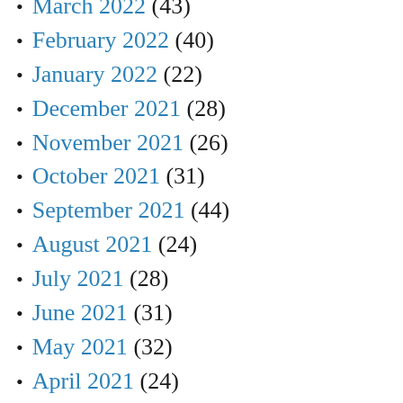March 2022 (43)
February 2022 (40)
January 2022 (22)
December 2021 (28)
November 2021 (26)
October 2021 (31)
September 2021 (44)
August 2021 (24)
July 2021 (28)
June 2021 (31)
May 2021 (32)
April 2021 (24)
March 2021 (51)
February 2021 (34)
January 2021 (29)
December 2020 (38)
November 2020 (?)